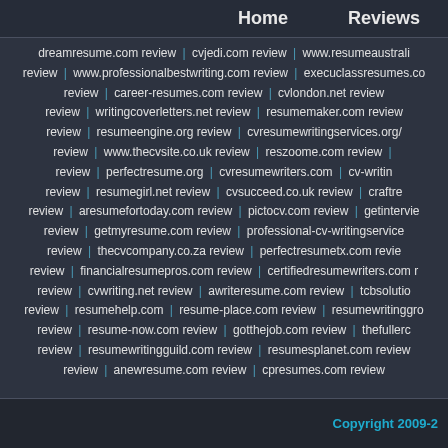Home | Reviews
dreamresume.com review | cvjedi.com review | www.resumeaustralia... review | www.professionalbestwriting.com review | execuclassresumes.co... review | career-resumes.com review | cvlondon.net review | review | writingcoverletters.net review | resumemaker.com review | review | resumeengine.org review | cvresumewritingservices.org/... review | www.thecvsite.co.uk review | reszoome.com review | review | perfectresume.org | cvresumewriters.com | cv-writing... review | resumegirl.net review | cvsucceed.co.uk review | craftre... review | aresumefortoday.com review | pictocv.com review | getintervie... review | getmyresume.com review | professional-cv-writingservice... review | thecvcompany.co.za review | perfectresumetx.com revie... review | financialresumepros.com review | certifiedresumewriters.com ... review | cvwriting.net review | awriteresume.com review | tcbsolutio... review | resumehelp.com | resume-place.com review | resumewritinggro... review | resume-now.com review | gotthejob.com review | thefullerd... review | resumewritingguild.com review | resumesplanet.com review | review | anewresume.com review | cpresumes.com review
Copyright 2009-2...